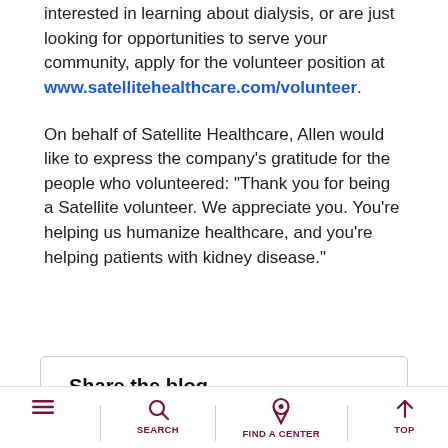interested in learning about dialysis, or are just looking for opportunities to serve your community, apply for the volunteer position at www.satellitehealthcare.com/volunteer.
On behalf of Satellite Healthcare, Allen would like to express the company’s gratitude for the people who volunteered: “Thank you for being a Satellite volunteer. We appreciate you. You’re helping us humanize healthcare, and you’re helping patients with kidney disease.”
Share the blog
SEARCH | FIND A CENTER | TOP